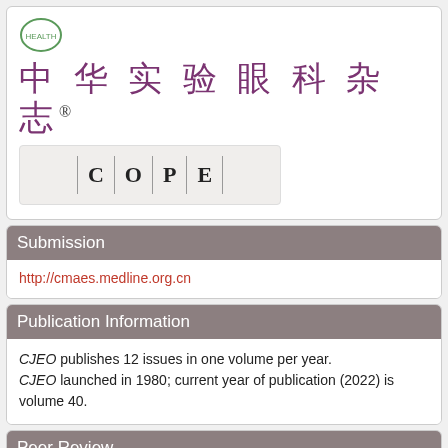[Figure (logo): Chinese journal logo and COPE membership badge with Chinese title 中华实验眼科杂志]
Submission
http://cmaes.medline.org.cn
Publication Information
CJEO publishes 12 issues in one volume per year.
CJEO launched in 1980; current year of publication (2022) is volume 40.
Peer Review